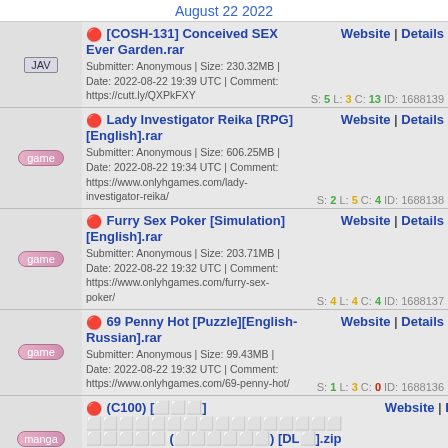August 22 2022
[COSH-131] Conceived SEX Ever Garden.rar | Submitter: Anonymous | Size: 230.32MB | Date: 2022-08-22 19:39 UTC | Comment: https://cutt.ly/QXPkFXY | S: 5 L: 3 C: 13 ID: 1688139
Lady Investigator Reika [RPG][English].rar | Submitter: Anonymous | Size: 606.25MB | Date: 2022-08-22 19:34 UTC | Comment: https://www.onlyhgames.com/lady-investigator-reika/ | S: 2 L: 5 C: 4 ID: 1688138
Furry Sex Poker [Simulation][English].rar | Submitter: Anonymous | Size: 203.71MB | Date: 2022-08-22 19:32 UTC | Comment: https://www.onlyhgames.com/furry-sex-poker/ | S: 4 L: 4 C: 4 ID: 1688137
69 Penny Hot [Puzzle][English-Russian].rar | Submitter: Anonymous | Size: 99.43MB | Date: 2022-08-22 19:32 UTC | Comment: https://www.onlyhgames.com/69-penny-hot/ | S: 1 L: 3 C: 0 ID: 1688136
(C100) [manga] (DL).zip | Submitter: milannews | Size: 191.56MB | Date: 2022-08-22 19:13 UTC | S: 481 L: 82 C: 0 ID: 1688135
(CG) ...